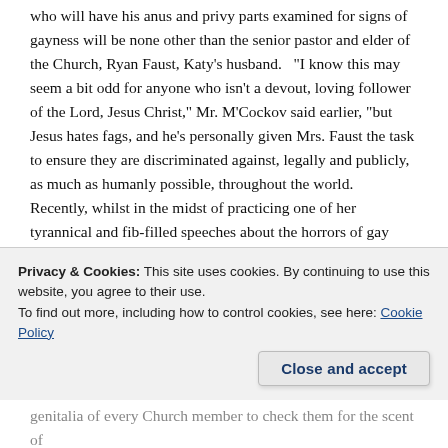who will have his anus and privy parts examined for signs of gayness will be none other than the senior pastor and elder of the Church, Ryan Faust, Katy's husband.   "I know this may seem a bit odd for anyone who isn't a devout, loving follower of the Lord, Jesus Christ," Mr. M'Cockov said earlier, "but Jesus hates fags, and he's personally given Mrs. Faust the task to ensure they are discriminated against, legally and publicly, as much as humanly possible, throughout the world.  Recently, whilst in the midst of practicing one of her tyrannical and fib-filled speeches about the horrors of gay marriage with her husband, who also hates gays, she noticed that he, himself, kinda looked…well, he kinda looked…..gay.  Mrs. Faust immediately called me after noticing this because….well….because you can't very well go around bashing gays and gay marriage if your gay-hating, proselytizing husband is secretly gay.  Imagine the
Privacy & Cookies: This site uses cookies. By continuing to use this website, you agree to their use.
To find out more, including how to control cookies, see here: Cookie Policy
Close and accept
genitalia of every Church member to check them for the scent of